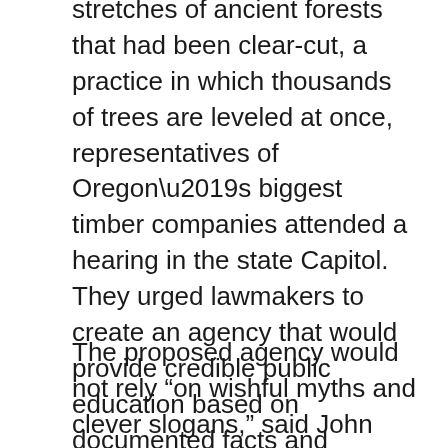stretches of ancient forests that had been clear-cut, a practice in which thousands of trees are leveled at once, representatives of Oregon’s biggest timber companies attended a hearing in the state Capitol. They urged lawmakers to create an agency that would provide credible public education based on documented facts and reliable science.
The proposed agency would not rely “on wishful myths and clever slogans,” said John Hampton, then president of the Oregon Forest & Industries Council, an association representing the state’s biggest timber owners and manufacturers.
“There are those who have asked, why should the state sanction a propaganda